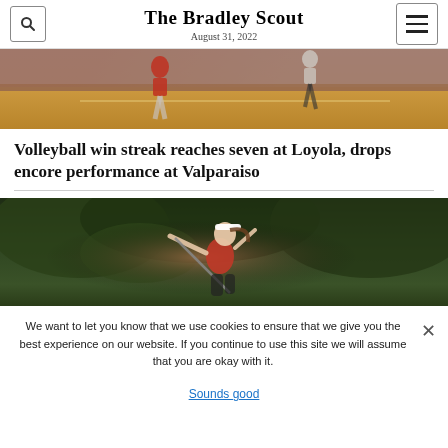The Bradley Scout
August 31, 2022
[Figure (photo): Volleyball players on a hardwood court, players in red uniforms visible, wooden floor with court markings]
Volleyball win streak reaches seven at Loyola, drops encore performance at Valparaiso
[Figure (photo): Female golfer in red shirt and white visor mid-swing, dark green foliage in background]
We want to let you know that we use cookies to ensure that we give you the best experience on our website. If you continue to use this site we will assume that you are okay with it.
Sounds good